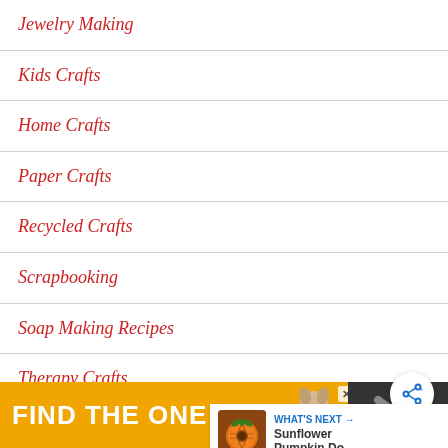Jewelry Making
Kids Crafts
Home Crafts
Paper Crafts
Recycled Crafts
Scrapbooking
Soap Making Recipes
Therapy Crafts
Wedding Crafts
[Figure (other): Share button (circle with share icon)]
[Figure (other): What's Next card with pumpkin image and text 'WHAT'S NEXT → Sunflower Pumpkin Do...']
[Figure (other): Advertisement banner: FIND THE ONE with dog image and X close button]